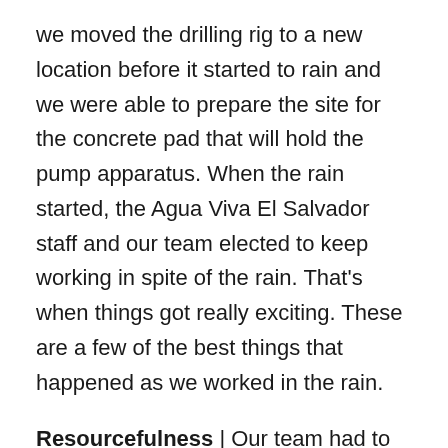we moved the drilling rig to a new location before it started to rain and we were able to prepare the site for the concrete pad that will hold the pump apparatus. When the rain started, the Agua Viva El Salvador staff and our team elected to keep working in spite of the rain. That's when things got really exciting. These are a few of the best things that happened as we worked in the rain.
Resourcefulness | Our team had to think creatively in order to mix and pour concrete in the rain. Because we mixed the concrete and sand on the ground, we had factor in exactly how much water to add to what the rain was contributing. And then we had to find plastic to cover the area where we needed to pour the mix. It all worked out!
Neighborliness | When the men in the village saw us working in the rain, they stepped up to help. One man